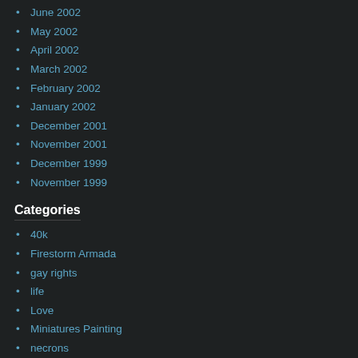June 2002
May 2002
April 2002
March 2002
February 2002
January 2002
December 2001
November 2001
December 1999
November 1999
Categories
40k
Firestorm Armada
gay rights
life
Love
Miniatures Painting
necrons
Orcs
pump it up
Uncategorized
Proudly powered by WordPress Theme: ChaosTheory by Automattic.